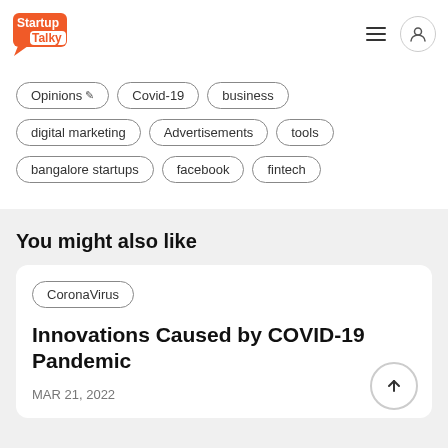[Figure (logo): StartupTalky logo with orange speech bubble design]
Opinions
Covid-19
business
digital marketing
Advertisements
tools
bangalore startups
facebook
fintech
You might also like
CoronaVirus
Innovations Caused by COVID-19 Pandemic
MAR 21, 2022